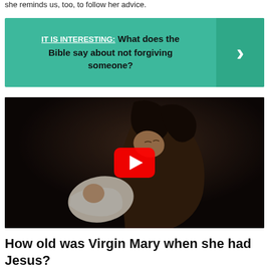she reminds us, too, to follow her advice.
IT IS INTERESTING:  What does the Bible say about not forgiving someone?
[Figure (photo): A woman with dark hair looking down tenderly at a newborn baby she is holding, in a dark, warm-toned cinematic scene. A YouTube play button is overlaid in the center.]
How old was Virgin Mary when she had Jesus?
W h e n  s o m e  h i s t o r i a n s  a n d  s c h o l a r s  o f  t h e  b i b l e  d i s c u...